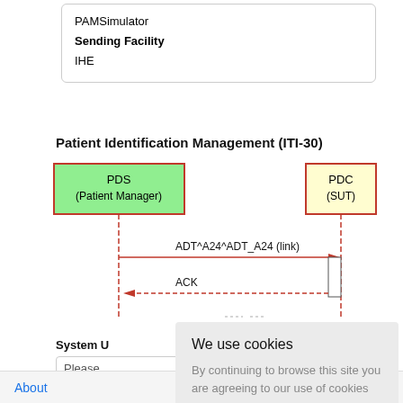PAMSimulator
Sending Facility
IHE
Patient Identification Management (ITI-30)
[Figure (flowchart): Sequence diagram showing PDS (Patient Manager) and PDC (SUT) exchanging ADT^A24^ADT_A24 (link) message with dashed vertical lifelines, arrow from PDS to PDC, and ACK response arrow from PDC back to PDS.]
We use cookies
By continuing to browse this site you are agreeing to our use of cookies
Ok
System U
Please
Messa
About   Back to top   E